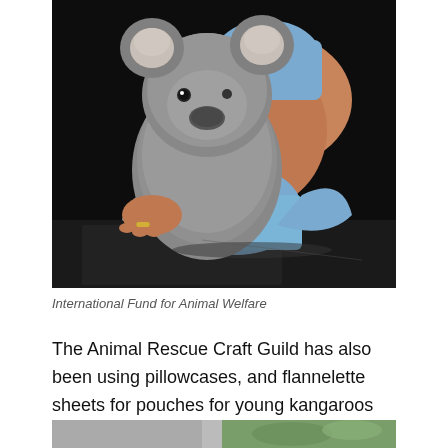[Figure (photo): A koala being held by a person wearing blue gloves/cloth against a dark background. The koala is grey and fluffy, facing the camera. The person's arm is visible supporting the koala.]
International Fund for Animal Welfare
The Animal Rescue Craft Guild has also been using pillowcases, and flannelette sheets for pouches for young kangaroos and wallabies.
[Figure (photo): Partial view of another photo at the bottom of the page, cropped.]